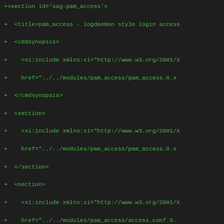+<section id='sag-pam_access'>
+  <title>pam_access - logdaemon style login access
+  <cmdsynopsis>
+    <xi:include xmlns:xi="http://www.w3.org/2001/X
+    href="../../modules/pam_access/pam_access.8.x
+  </cmdsynopsis>
+  <section>
+    <xi:include xmlns:xi="http://www.w3.org/2001/X
+    href="../../modules/pam_access/pam_access.8.x
+  </section>
+  <section>
+    <xi:include xmlns:xi="http://www.w3.org/2001/X
+    href="../../modules/pam_access/access.conf.5.
+  </section>
+  <section>
+    <xi:include xmlns:xi="http://www.w3.org/2001/X
+    href="../../modules/pam_access/pam_access.8.x
+  </section>
+  <section>
+    <xi:include xmlns:xi="http://www.w3.org/2001/X
+    href="../../modules/pam_access/pam_access.8.x
+  </section>
+  <section>
+    <xi:include xmlns:xi="http://www.w3.org/2001/X
+    href="../../modules/pam_access/pam_access.8.x
+  </section>
+  <section>
+    <xi:include xmlns:xi="http://www.w3.org/2001/X
+    href="../../modules/pam_access/pam_access.8.x
+  </section>